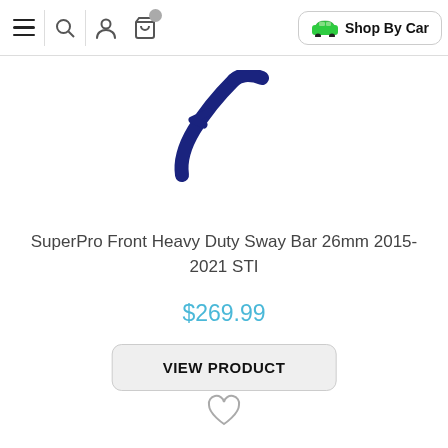Navigation bar with menu, search, account, cart icons and Shop By Car button
[Figure (photo): Partial image of a blue SuperPro sway bar component on white background]
SuperPro Front Heavy Duty Sway Bar 26mm 2015-2021 STI
$269.99
VIEW PRODUCT